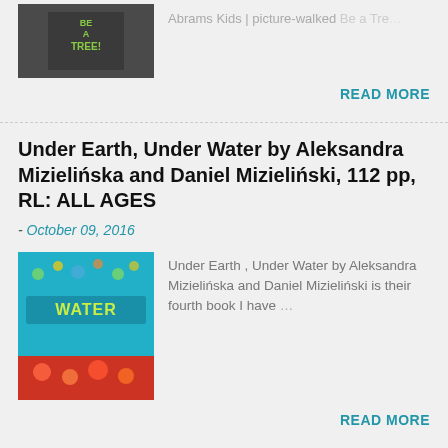Abrams Kids | picture-walked Be a Tre…
READ MORE
Under Earth, Under Water by Aleksandra Mizielińska and Daniel Mizieliński, 112 pp, RL: ALL AGES
- October 09, 2016
[Figure (photo): Book cover of Under Earth, Under Water with teal background and colorful illustrations]
Under Earth , Under Water by Aleksandra Mizielińska and Daniel Mizieliński is their fourth book I have …
READ MORE
The New Friend by Charlotte Zolotow, illustrated by Benjamin Chaud
November 11, 2021